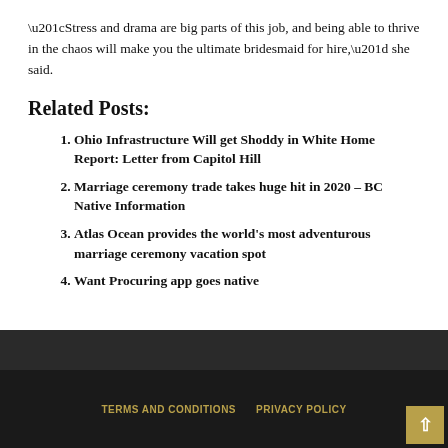“Stress and drama are big parts of this job, and being able to thrive in the chaos will make you the ultimate bridesmaid for hire,” she said.
Related Posts:
Ohio Infrastructure Will get Shoddy in White Home Report: Letter from Capitol Hill
Marriage ceremony trade takes huge hit in 2020 – BC Native Information
Atlas Ocean provides the world’s most adventurous marriage ceremony vacation spot
Want Procuring app goes native
TERMS AND CONDITIONS   PRIVACY POLICY